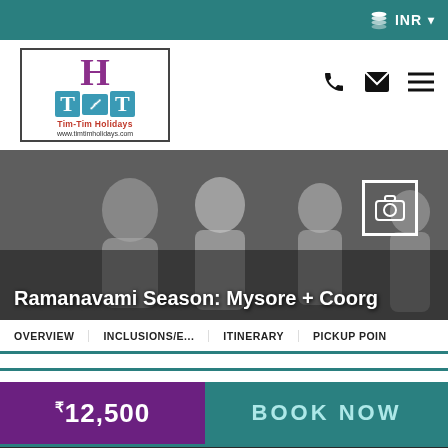INR
[Figure (logo): Tim-Tim Holidays logo with H monogram in purple and T-T in teal, www.timtimholidays.com]
[Figure (photo): Black and white photo of people, Ramanavami Season: Mysore + Coorg hero image]
Ramanavami Season: Mysore + Coorg
OVERVIEW   INCLUSIONS/E...   ITINERARY   PICKUP POIN
₹12,500
BOOK NOW
Need help for booking   +91 9741740014   consult.timtim@gmail.com